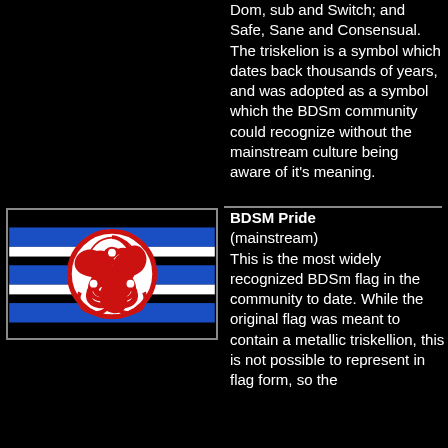Dom, sub and Switch; and Safe, Sane and Consensual. The triskelion is a symbol which dates back thousands of years, and was adopted as a symbol which the BDSm community could recognize without the mainstream culture being aware of it's meaning.
[Figure (illustration): BDSM Pride flag: black and blue horizontal stripes with a red triskelion symbol on a white circle in the center-left]
BDSM Pride (mainstream) This is the most widely recognized BDSm flag in the community to date. While the original flag was meant to contain a metallic triskellion, this is not possible to represent in flag form, so the